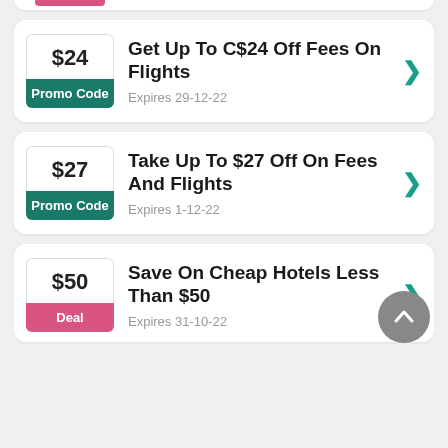Get Up To C$24 Off Fees On Flights — Promo Code — Expires 29-12-22
Take Up To $27 Off On Fees And Flights — Promo Code — Expires 1-12-22
Save On Cheap Hotels Less Than $50 — Deal — Expires 31-10-22